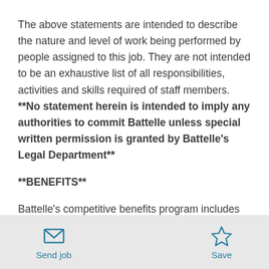The above statements are intended to describe the nature and level of work being performed by people assigned to this job. They are not intended to be an exhaustive list of all responsibilities, activities and skills required of staff members. **No statement herein is intended to imply any authorities to commit Battelle unless special written permission is granted by Battelle's Legal Department**
**BENEFITS**
Battelle's competitive benefits program includes
[Figure (other): Bottom navigation bar with Send job (envelope icon) and Save (star icon) buttons]